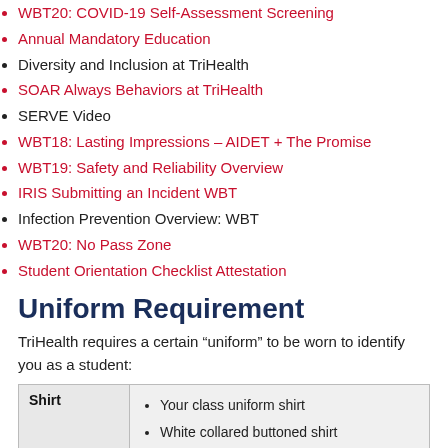WBT20: COVID-19 Self-Assessment Screening
Annual Mandatory Education
Diversity and Inclusion at TriHealth
SOAR Always Behaviors at TriHealth
SERVE Video
WBT18: Lasting Impressions – AIDET + The Promise
WBT19: Safety and Reliability Overview
IRIS Submitting an Incident WBT
Infection Prevention Overview: WBT
WBT20: No Pass Zone
Student Orientation Checklist Attestation
Uniform Requirement
TriHealth requires a certain “uniform” to be worn to identify you as a student:
|  |  |
| --- | --- |
| Shirt | Your class uniform shirt
White collared buttoned shirt |